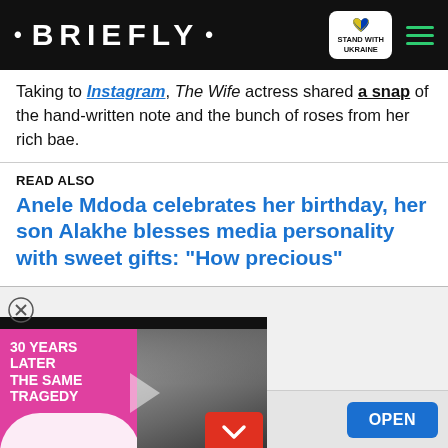• BRIEFLY •
Taking to Instagram, The Wife actress shared a snap of the hand-written note and the bunch of roses from her rich bae.
READ ALSO
Anele Mdoda celebrates her birthday, her son Alakhe blesses media personality with sweet gifts: "How precious"
[Figure (screenshot): Video thumbnail showing a man's face on the right side and pink blob graphic on the left with text '30 YEARS LATER THE SAME TRAGEDY'. A red down chevron button is visible.]
CON EXPO-CON/AGG
Connect With Industry Leaders
OPEN